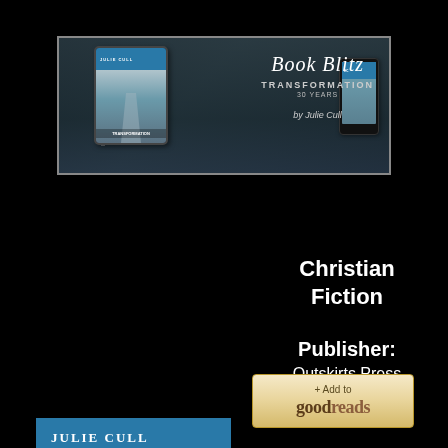[Figure (illustration): Book Blitz banner for 'Transformation' by Julie Cull, showing tablet and phone devices with book cover, RABT Book Tours and PR branding]
[Figure (illustration): Book cover for 'Transformation' by Julie Cull showing winter forest path, published by Outskirts Press]
Christian Fiction
Publisher: Outskirts Press
[Figure (illustration): Goodreads 'Add to goodreads' button]